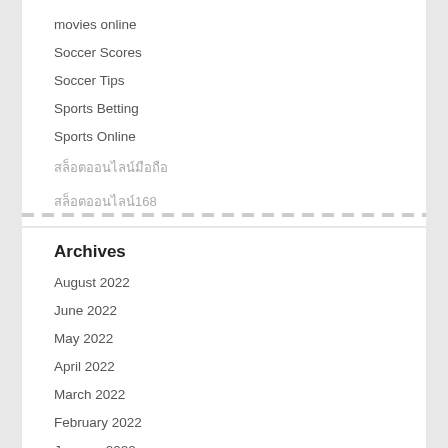movies online
Soccer Scores
Soccer Tips
Sports Betting
Sports Online
สล็อตออนไลน์มือถือ
สล็อตออนไลน์168
Archives
August 2022
June 2022
May 2022
April 2022
March 2022
February 2022
January 2022
December 2021